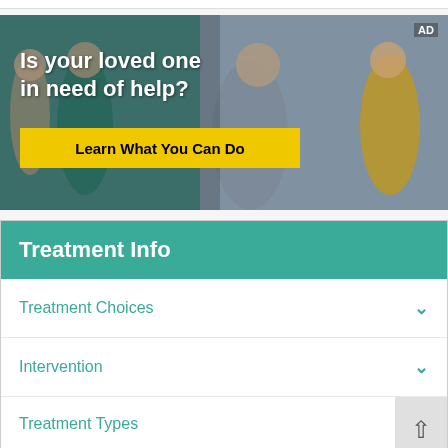[Figure (photo): Advertisement banner showing people in a support group setting. Text reads 'Is your loved one in need of help?' with a yellow button 'Learn What You Can Do'. AD label in top right corner.]
Treatment Info
Treatment Choices
Intervention
Treatment Types
Length of Treatment
Treatment Process
Treatment Therapies